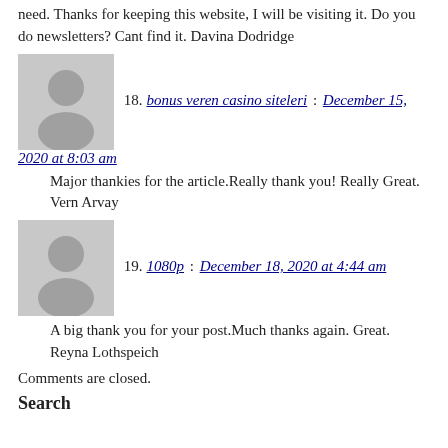need. Thanks for keeping this website, I will be visiting it. Do you do newsletters? Cant find it. Davina Dodridge
[Figure (illustration): Gray placeholder avatar icon — silhouette of a person on gray background]
18. bonus veren casino siteleri : December 15, 2020 at 8:03 am
Major thankies for the article.Really thank you! Really Great. Vern Arvay
[Figure (illustration): Gray placeholder avatar icon — silhouette of a person on gray background]
19. 1080p : December 18, 2020 at 4:44 am
A big thank you for your post.Much thanks again. Great. Reyna Lothspeich
Comments are closed.
Search